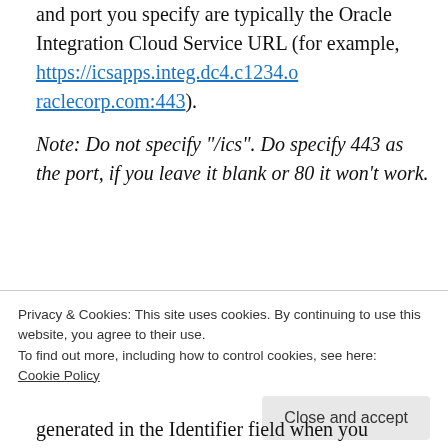and port you specify are typically the Oracle Integration Cloud Service URL (for example, https://icsapps.integ.dc4.c1234.oraclecorp.com:443). Note: Do not specify "/ics". Do specify 443 as the port, if you leave it blank or 80 it won’t work.
-u= — This field is required. It specifies the Oracle Integration Cloud Service user name.
Privacy & Cookies: This site uses cookies. By continuing to use this website, you agree to their use. To find out more, including how to control cookies, see here: Cookie Policy
generated in the Identifier field when you